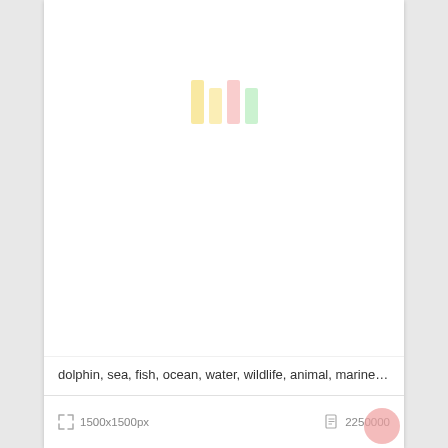[Figure (other): Image loading placeholder with four vertical colored bars (yellow, yellow, pink, green) centered in a white card area]
dolphin, sea, fish, ocean, water, wildlife, animal, marine,....
1500x1500px   2250000